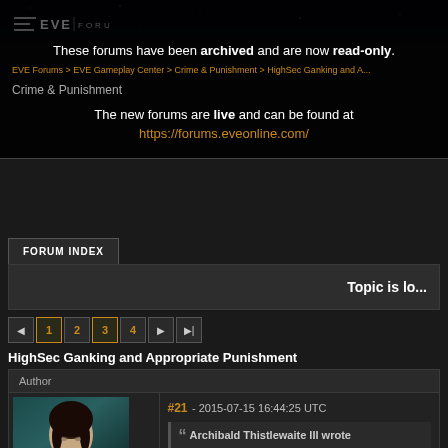[Figure (screenshot): EVE Online forums header with starfield background]
These forums have been archived and are now read-only.
EVE Forums > EVE Gameplay Center > Crime & Punishment > HighSec Ganking and A...
Crime & Punishment
The new forums are live and can be found at https://forums.eveonline.com/
FORUM INDEX
Topic is lo...
1 2 3 4
HighSec Ganking and Appropriate Punishment
| Author |  |
| --- | --- |
|  | #21 - 2015-07-15 16:44:25 UTC |
| [avatar] | Archibald Thistlewaite III wrote |
#21 - 2015-07-15 16:44:25 UTC
Archibald Thistlewaite III wrote